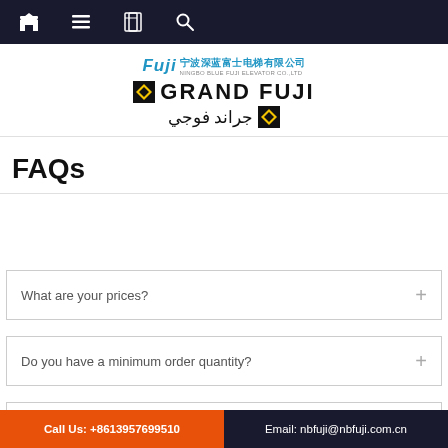Navigation bar with home, menu, book, and search icons
[Figure (logo): Grand Fuji / Ningbo Blue Fuji Elevator Co., Ltd logo with Chinese and Arabic text]
FAQs
What are your prices?
Do you have a minimum order quantity?
Can you supply the relevant documentation?
Call Us: +8613957699510  Email: nbfuji@nbfuji.com.cn